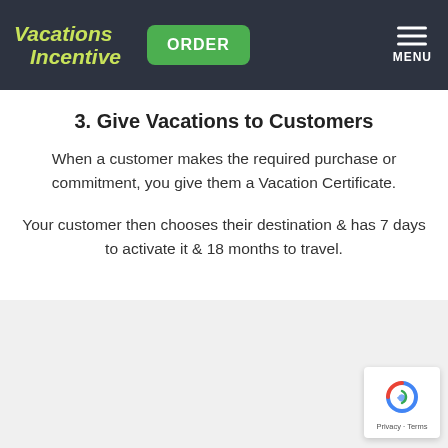Vacations Incentive | ORDER | MENU
3. Give Vacations to Customers
When a customer makes the required purchase or commitment, you give them a Vacation Certificate.
Your customer then chooses their destination & has 7 days to activate it & 18 months to travel.